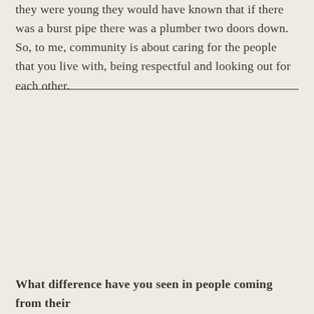they were young they would have known that if there was a burst pipe there was a plumber two doors down. So, to me, community is about caring for the people that you live with, being respectful and looking out for each other.
What difference have you seen in people coming from their